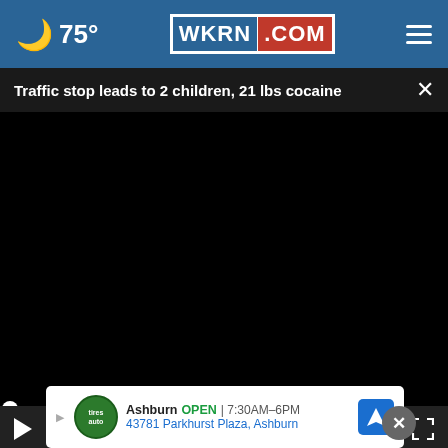🌙 75° WKRN.COM
Traffic stop leads to 2 children, 21 lbs cocaine
[Figure (screenshot): Video player with black screen, progress bar, and playback controls showing 00:00 timestamp]
[Figure (photo): Colorful textile/fabric image partially visible below video player]
Ashburn OPEN | 7:30AM–6PM
43781 Parkhurst Plaza, Ashburn